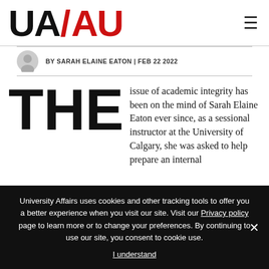UA/AU logo and navigation
BY SARAH ELAINE EATON | FEB 22 2022
THE issue of academic integrity has been on the mind of Sarah Elaine Eaton ever since, as a sessional instructor at the University of Calgary, she was asked to help prepare an internal
University Affairs uses cookies and other tracking tools to offer you a better experience when you visit our site. Visit our Privacy policy page to learn more or to change your preferences. By continuing to use our site, you consent to cookie use.
I understand